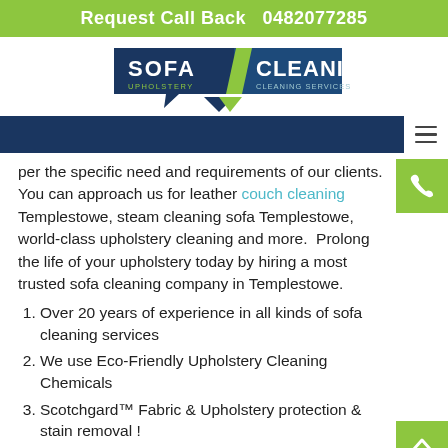Request Call Back   0482077285
[Figure (logo): Sofa / Cleaning Upholstery Cleaning Services logo with dark blue speech bubble shapes and green/white text]
per the specific need and requirements of our clients. You can approach us for leather couch cleaning Templestowe, steam cleaning sofa Templestowe, world-class upholstery cleaning and more.  Prolong the life of your upholstery today by hiring a most trusted sofa cleaning company in Templestowe.
Over 20 years of experience in all kinds of sofa cleaning services
We use Eco-Friendly Upholstery Cleaning Chemicals
Scotchgard™ Fabric & Upholstery protection & stain removal !
Fully trained & qualified couch cleaning